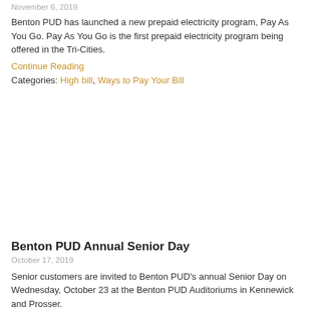November 6, 2019
Benton PUD has launched a new prepaid electricity program, Pay As You Go.  Pay As You Go is the first prepaid electricity program being offered in the Tri-Cities.
Continue Reading
Categories: High bill, Ways to Pay Your Bill
Benton PUD Annual Senior Day
October 17, 2019
Senior customers are invited to Benton PUD's annual Senior Day on Wednesday, October 23 at the Benton PUD Auditoriums in Kennewick and Prosser.
Continue Reading